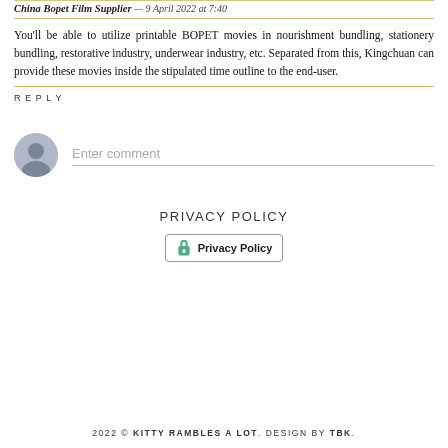China Bopet Film Supplier — 9 April 2022 at 7:40
You'll be able to utilize printable BOPET movies in nourishment bundling, stationery bundling, restorative industry, underwear industry, etc. Separated from this, Kingchuan can provide these movies inside the stipulated time outline to the end-user.
REPLY
[Figure (other): User avatar circle with comment input field placeholder 'Enter comment']
PRIVACY POLICY
[Figure (other): Privacy Policy button with key icon]
2022 © KITTY RAMBLES A LOT. DESIGN BY TBK.